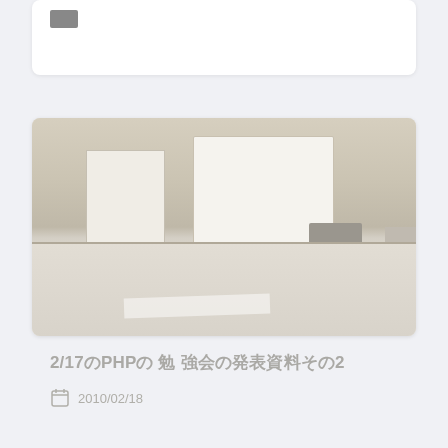[Figure (photo): Partially visible white card/panel at the top of the page with a small grey rectangle icon visible at upper-left.]
[Figure (photo): A blurred/faded photograph of a conference or meeting room showing a whiteboard or projection screen at the back, a table in the foreground with papers on it, and chairs. The image has a very light, washed-out appearance.]
2/17のPHPの 勉 強会の発表資料その2
2010/02/18